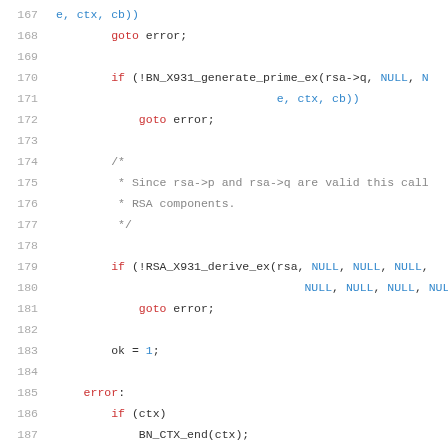[Figure (screenshot): Source code listing showing C code lines 167–188 with syntax highlighting. Line numbers in gray on left, keywords in red, identifiers and constants in blue, comment text in gray.]